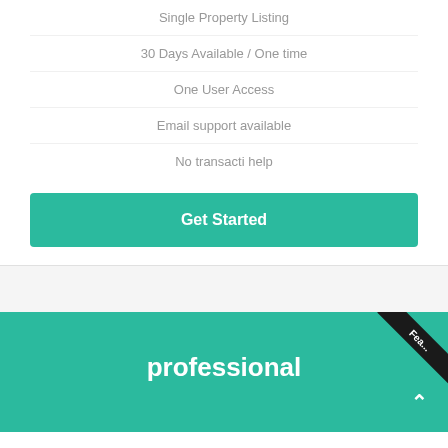Single Property Listing
30 Days Available / One time
One User Access
Email support available
No transacti help
Get Started
professional